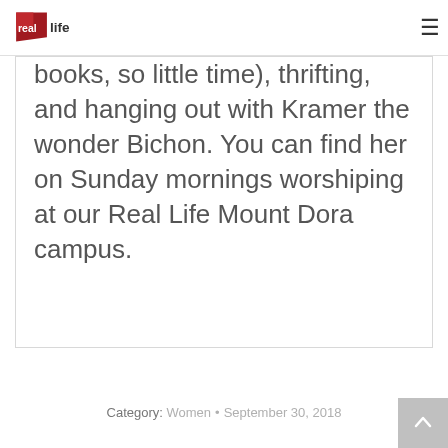real life
books, so little time), thrifting, and hanging out with Kramer the wonder Bichon. You can find her on Sunday mornings worshiping at our Real Life Mount Dora campus.
Category: Women • September 30, 2018